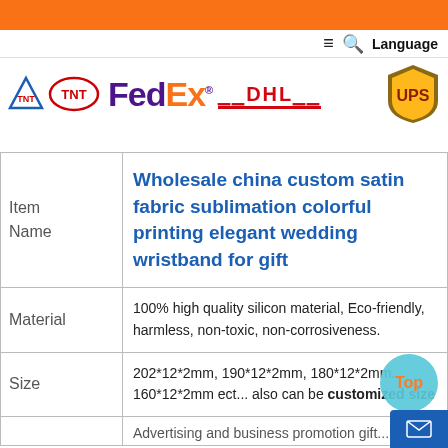[Figure (logo): Header banner with courier service logos: TNT, FedEx, DHL, UPS on white background with orange top bar]
|  |  |
| --- | --- |
| Item Name | Wholesale china custom satin fabric sublimation colorful printing elegant wedding wristband for gift |
| Material | 100% high quality silicon material, Eco-friendly, harmless, non-toxic, non-corrosiveness. |
| Size | 202*12*2mm, 190*12*2mm, 180*12*2mm. 160*12*2mm ect... also can be customized size |
|  | Advertising and business promotion gift... |